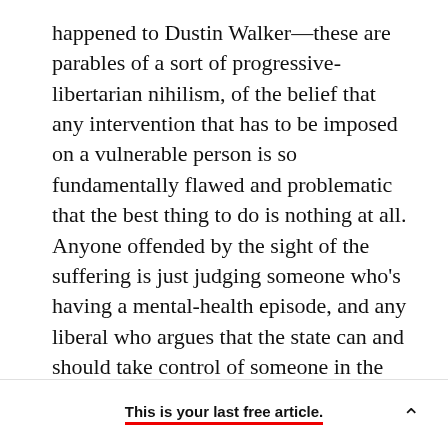happened to Dustin Walker—these are parables of a sort of progressive-libertarian nihilism, of the belief that any intervention that has to be imposed on a vulnerable person is so fundamentally flawed and problematic that the best thing to do is nothing at all. Anyone offended by the sight of the suffering is just judging someone who's having a mental-health episode, and any liberal who argues that the state can and should take control of someone in the throes of drugs and psychosis is basically a Republican. If and when the vulnerable person dies, that was his choice, and in San Francisco we congratulate ourselves on being very
This is your last free article.